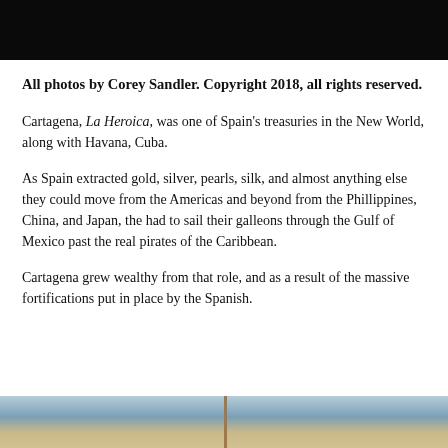[Figure (photo): Top portion of a dark/night photograph, mostly black]
All photos by Corey Sandler. Copyright 2018, all rights reserved.
Cartagena, La Heroica, was one of Spain’s treasuries in the New World, along with Havana, Cuba.
As Spain extracted gold, silver, pearls, silk, and almost anything else they could move from the Americas and beyond from the Phillippines, China, and Japan, the had to sail their galleons through the Gulf of Mexico past the real pirates of the Caribbean.
Cartagena grew wealthy from that role, and as a result of the massive fortifications put in place by the Spanish.
[Figure (photo): Bottom portion of a photo showing a ship mast against a sky and water background]